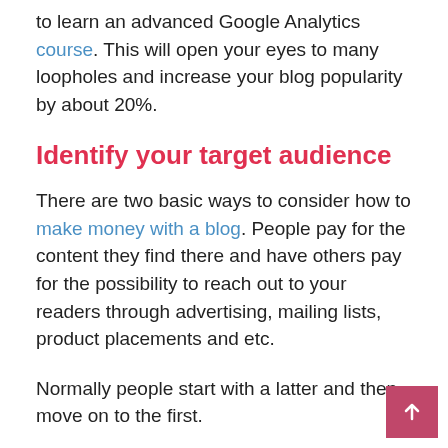to learn an advanced Google Analytics course. This will open your eyes to many loopholes and increase your blog popularity by about 20%.
Identify your target audience
There are two basic ways to consider how to make money with a blog. People pay for the content they find there and have others pay for the possibility to reach out to your readers through advertising, mailing lists, product placements and etc.
Normally people start with a latter and then move on to the first.
Even though many say that once you start getting money for advertising, there's no going back to